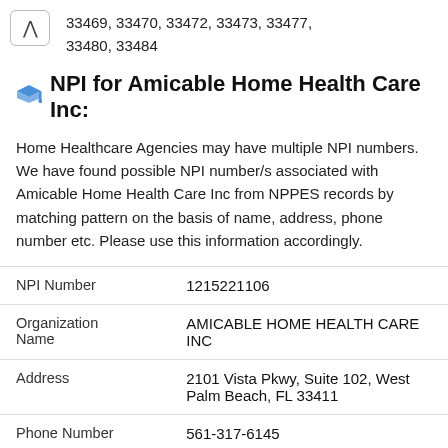33469, 33470, 33472, 33473, 33477, 33480, 33484
🎓 NPI for Amicable Home Health Care Inc:
Home Healthcare Agencies may have multiple NPI numbers. We have found possible NPI number/s associated with Amicable Home Health Care Inc from NPPES records by matching pattern on the basis of name, address, phone number etc. Please use this information accordingly.
|  |  |
| --- | --- |
| NPI Number | 1215221106 |
| Organization Name | AMICABLE HOME HEALTH CARE INC |
| Address | 2101 Vista Pkwy, Suite 102, West Palm Beach, FL 33411 |
| Phone Number | 561-317-6145 |